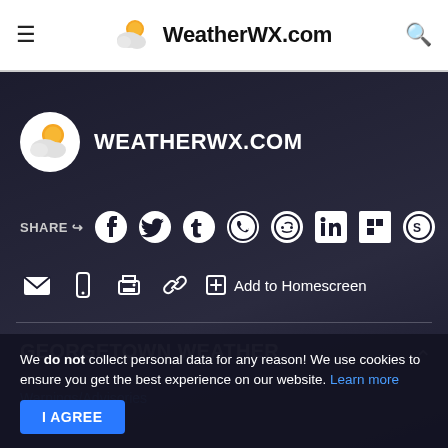WeatherWX.com
WEATHERWX.COM
SHARE
GEORGETOWN WEATHER
We do not collect personal data for any reason! 🙏 We use cookies to ensure you get the best experience on our website. Learn more
I AGREE